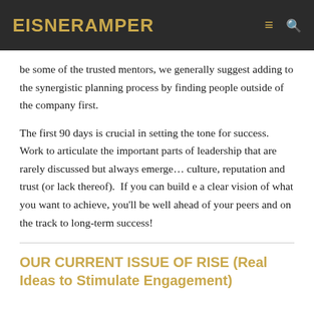EisnerAmper
be some of the trusted mentors, we generally suggest adding to the synergistic planning process by finding people outside of the company first.
The first 90 days is crucial in setting the tone for success.  Work to articulate the important parts of leadership that are rarely discussed but always emerge… culture, reputation and trust (or lack thereof).  If you can build e a clear vision of what you want to achieve, you'll be well ahead of your peers and on the track to long-term success!
OUR CURRENT ISSUE OF RISE (Real Ideas to Stimulate Engagement)